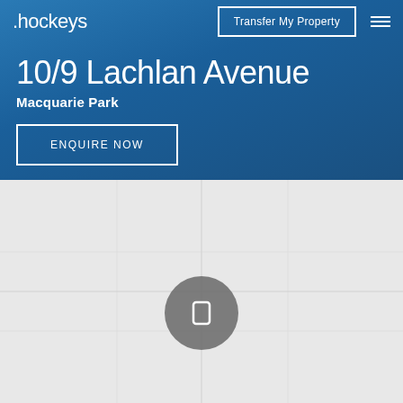.hockeys
Transfer My Property
10/9 Lachlan Avenue
Macquarie Park
ENQUIRE NOW
[Figure (map): Map view with a grey circular location pin marker centered on the map area, light grey background representing a street map]